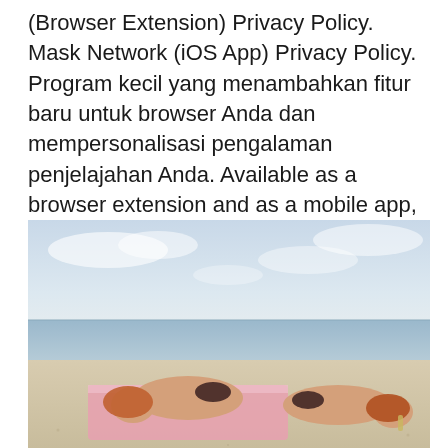(Browser Extension) Privacy Policy. Mask Network (iOS App) Privacy Policy. Program kecil yang menambahkan fitur baru untuk browser Anda dan mempersonalisasi pengalaman penjelajahan Anda. Available as a browser extension and as a mobile app, MetaMask equips you with a key vault, secure login, token wallet, and token exchange—everything you need to manage your digital assets.
[Figure (photo): Two women in bikinis lying face down on a beach towel on a sandy beach, with sky and sea visible in the background.]